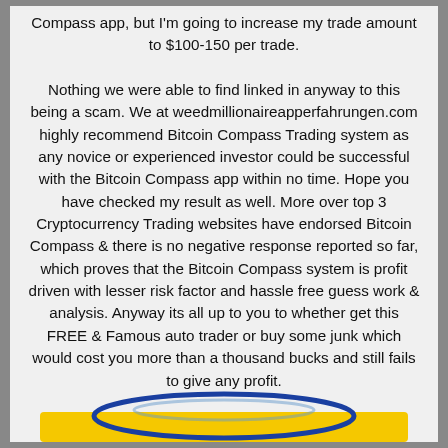Compass app, but I'm going to increase my trade amount to $100-150 per trade.

Nothing we were able to find linked in anyway to this being a scam. We at weedmillionaireapperfahrungen.com highly recommend Bitcoin Compass Trading system as any novice or experienced investor could be successful with the Bitcoin Compass app within no time. Hope you have checked my result as well. More over top 3 Cryptocurrency Trading websites have endorsed Bitcoin Compass & there is no negative response reported so far, which proves that the Bitcoin Compass system is profit driven with lesser risk factor and hassle free guess work & analysis. Anyway its all up to you to whether get this FREE & Famous auto trader or buy some junk which would cost you more than a thousand bucks and still fails to give any profit.
[Figure (other): Partial view of a yellow button with blue arc/logo above it at the bottom of the page]